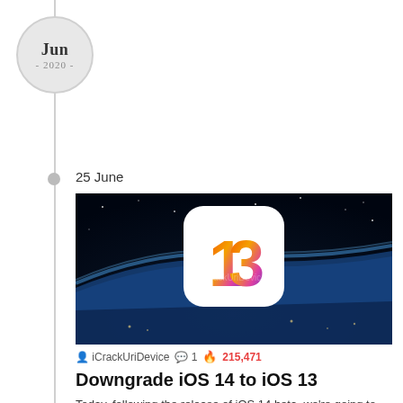Jun - 2020 -
25 June
[Figure (photo): iOS 13 logo with colorful gradient numeral 13 on a rounded square white icon, set against a space/earth horizon background]
iCrackUriDevice  1  215,471
Downgrade iOS 14 to iOS 13
Today, following the release of iOS 14 beta, we're going to teach you how to go back to iOS 13. Millions watched Apple reveal iOS 14 on their virtual stage during WWDC 2020.